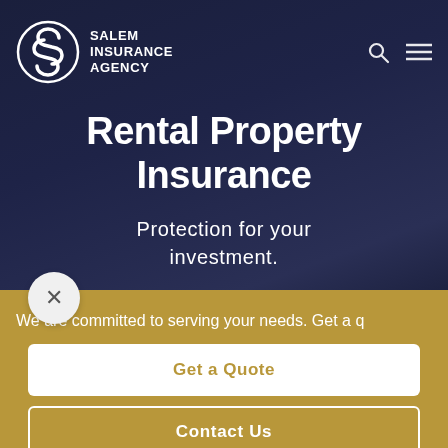[Figure (logo): Salem Insurance Agency logo: circular S-shaped emblem in white outline on dark navy background, with 'SALEM INSURANCE AGENCY' in bold white text beside it. Navigation icons (search magnifier and hamburger menu) on the right.]
Rental Property Insurance
Protection for your investment.
We are committed to serving your needs. Get a q
Get a Quote
Contact Us